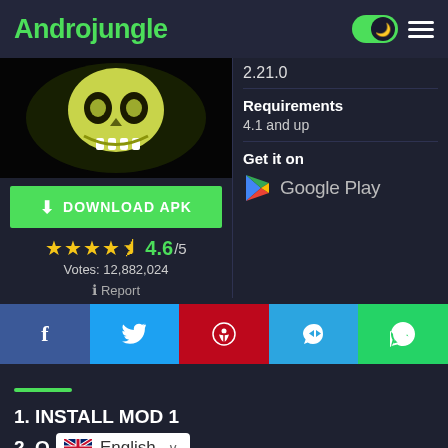Androjungle
[Figure (screenshot): App thumbnail showing a skull/monster face on dark background]
DOWNLOAD APK
★★★★½ 4.6/5
Votes: 12,882,024
ℹ Report
2.21.0
Requirements
4.1 and up
Get it on
Google Play
[Figure (logo): Google Play social share icons: Facebook, Twitter, Pinterest, Telegram, WhatsApp]
1. INSTALL MOD 1
2. O...
English